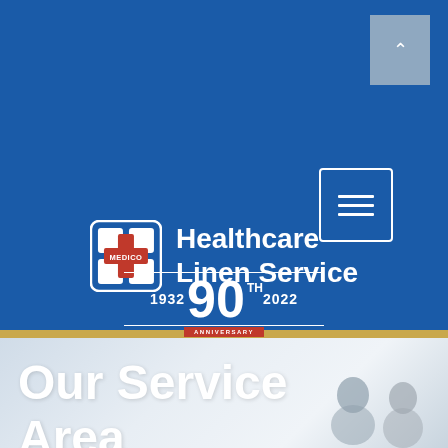[Figure (logo): Medico Healthcare Linen Service logo with cross/grid icon in white on blue background, with 90th anniversary badge (1932-2022)]
Our Service Area